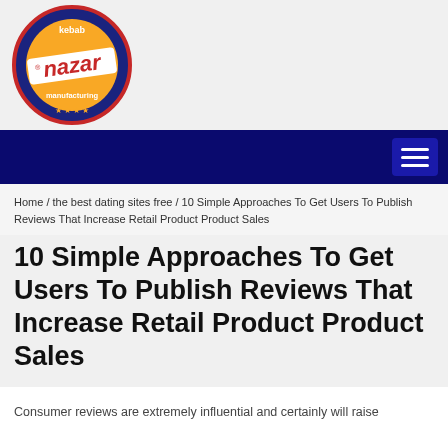[Figure (logo): Nazar kebab manufacturing logo: circular badge with dark blue and red border, gold/yellow center with 'nazar' text in red, 'kebab' above and 'manufacturing' below, stars at bottom]
Home / the best dating sites free / 10 Simple Approaches To Get Users To Publish Reviews That Increase Retail Product Product Sales
10 Simple Approaches To Get Users To Publish Reviews That Increase Retail Product Product Sales
Consumer reviews are extremely influential and certainly will raise